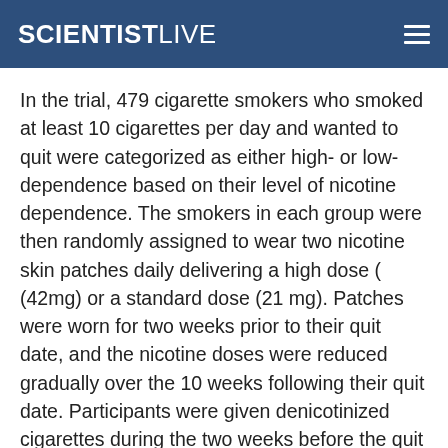SCIENTISTLIVE
In the trial, 479 cigarette smokers who smoked at least 10 cigarettes per day and wanted to quit were categorized as either high- or low-dependence based on their level of nicotine dependence. The smokers in each group were then randomly assigned to wear two nicotine skin patches daily delivering a high dose ( (42mg) or a standard dose (21 mg). Patches were worn for two weeks prior to their quit date, and the nicotine doses were reduced gradually over the 10 weeks following their quit date. Participants were given denicotinized cigarettes during the two weeks before the quit date to minimize any potential adverse effects from the high dose nicotine patches. The treatment phase lasted for 12 weeks in all.